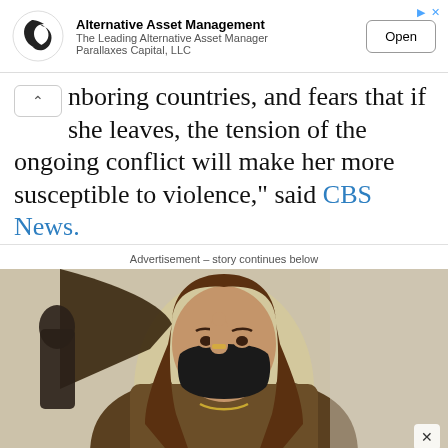[Figure (screenshot): Advertisement banner for Alternative Asset Management by Parallaxes Capital, LLC with logo, text, and Open button]
nboring countries, and fears that if she leaves, the tension of the ongoing conflict will make her more susceptible to violence," said CBS News.
Advertisement – story continues below
[Figure (photo): Photo of a woman with brown hair wearing a black face mask and brown jacket, seated in a chair, touching her temple with one finger]